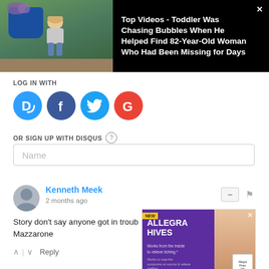[Figure (screenshot): Video thumbnail showing toddler child outdoors with blue flower pot and green plants, on black background with video title]
Top Videos - Toddler Was Chasing Bubbles When He Helped Find 82-Year-Old Woman Who Had Been Missing for Days
LOG IN WITH
[Figure (infographic): Four social login icons: Disqus (blue D), Facebook (dark blue f), Twitter (light blue bird), Google (red G)]
OR SIGN UP WITH DISQUS ?
Name
Kenneth Meek
2 months ago
Story don't say anyone got in trouble... Mazzarone
Reply
[Figure (screenshot): Advertisement for Allegra Hives medication by CVS. Purple background with text 'NEW ALLEGRA HIVES Works from the inside to relieve itching.' Woman smiling, product box shown. Shop Now button and CVS logo at bottom.]